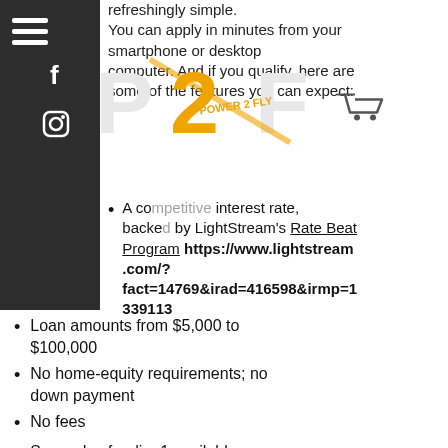refreshingly simple. You can apply in minutes from your smartphone or desktop computer. And if you qualify, here are some of the features you can expect:
[Figure (logo): P2F Power 2 Fly logo — orange and white stylized text with lightning bolt]
A competitive interest rate, backed by LightStream's Rate Beat Program https://www.lightstream.com/?fact=14769&irad=416598&irmp=1339113
Loan amounts from $5,000 to $100,000
No home-equity requirements; no down payment
No fees
Same-day funding1 available
Your best loan experience ever, guaranteed
LightStream will even plant a tree once your loan is funded!